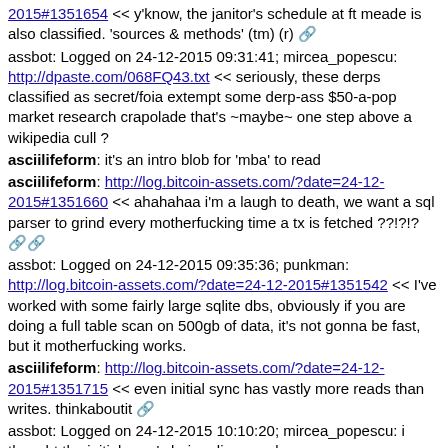2015#1351654 << y'know, the janitor's schedule at ft meade is also classified. 'sources & methods' (tm) (r) [icon]
assbot: Logged on 24-12-2015 09:31:41; mircea_popescu: http://dpaste.com/068FQ43.txt << seriously, these derps classified as secret/foia extempt some derp-ass $50-a-pop market research crapolade that's ~maybe~ one step above a wikipedia cull ?
asciilifeform: it's an intro blob for 'mba' to read
asciilifeform: http://log.bitcoin-assets.com/?date=24-12-2015#1351660 << ahahahaa i'm a laugh to death, we want a sql parser to grind every motherfucking time a tx is fetched ??!?!? [icon]
assbot: Logged on 24-12-2015 09:35:36; punkman: http://log.bitcoin-assets.com/?date=24-12-2015#1351542 << I've worked with some fairly large sqlite dbs, obviously if you are doing a full table scan on 500gb of data, it's not gonna be fast, but it motherfucking works.
asciilifeform: http://log.bitcoin-assets.com/?date=24-12-2015#1351715 << even initial sync has vastly more reads than writes. thinkaboutit [icon]
assbot: Logged on 24-12-2015 10:10:20; mircea_popescu: i thought the initial sync's being discussed.
asciilifeform: http://log.bitcoin-assets.com/?date=24-12-2015#1351721 << it is a turd and barely works for the purpose it was designed for. and NO MOTHERFUCKING SQL in bitcoin [icon]
assbot: Logged on 24-12-2015 10:16:31; punkman: sqlite could work fine for the foreseeable future. main objection is that it comes